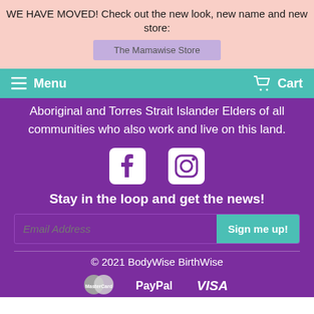WE HAVE MOVED! Check out the new look, new name and new store: The Mamawise Store
Menu  Cart
Aboriginal and Torres Strait Islander Elders of all communities who also work and live on this land.
[Figure (illustration): Facebook and Instagram social media icons in white on purple background]
Stay in the loop and get the news!
Email Address  Sign me up!
© 2021 BodyWise BirthWise
[Figure (logo): MasterCard, PayPal, and VISA payment method logos]